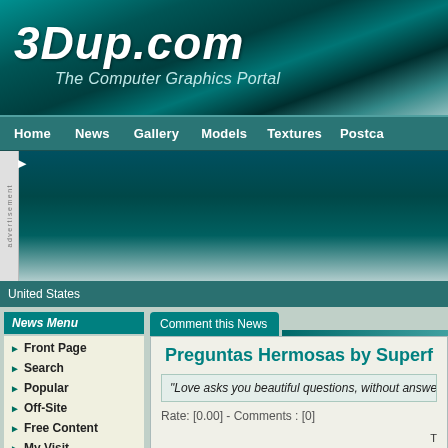3Dup.com - The Computer Graphics Portal
Home | News | Gallery | Models | Textures | Postca...
[Figure (screenshot): Advertisement placeholder area with teal gradient background and sidebar advertisement label]
United States
News Menu
Front Page
Search
Popular
Off-Site
Free Content
My Visit
Options
Send
Print
PDF
Comment this News
Preguntas Hermosas by Superf
"Love asks you beautiful questions, without answe...
Rate: [0.00]  -  Comments : [0]